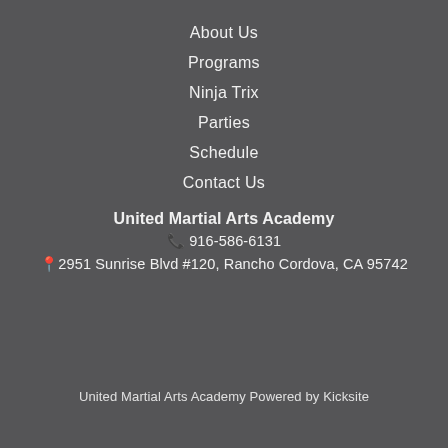About Us
Programs
Ninja Trix
Parties
Schedule
Contact Us
United Martial Arts Academy
📞 916-586-6131
📍2951 Sunrise Blvd #120, Rancho Cordova, CA 95742
United Martial Arts Academy Powered by Kicksite